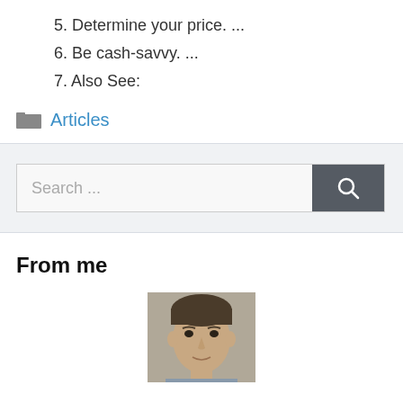5. Determine your price. ...
6. Be cash-savvy. ...
7. Also See:
Articles
[Figure (other): Search bar with text field showing 'Search ...' placeholder and a dark search button with magnifying glass icon]
From me
[Figure (photo): Portrait photo of a man with dark hair, looking at the camera, partial view from top of head to chin area]